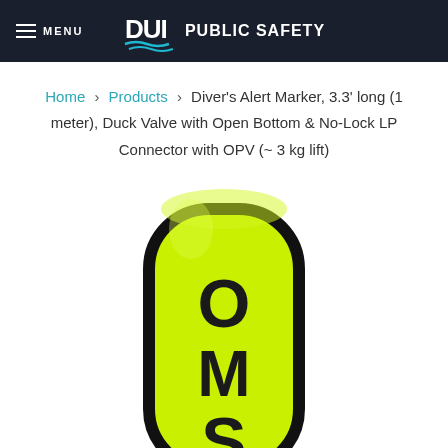MENU  DUI PUBLIC SAFETY
Home > Products > Diver's Alert Marker, 3.3' long (1 meter), Duck Valve with Open Bottom & No-Lock LP Connector with OPV (~ 3 kg lift)
[Figure (photo): Bright yellow-green diver's alert marker/SMB buoy with black border and rounded top, with letters O, M, S printed vertically in black on the front.]